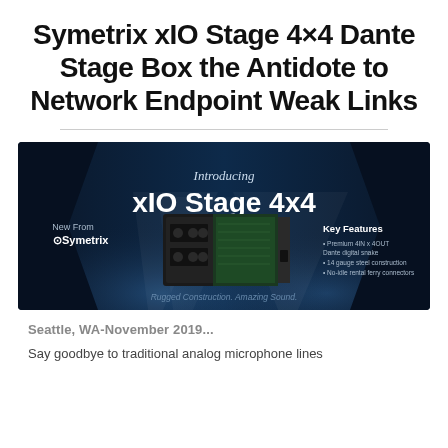Symetrix xIO Stage 4×4 Dante Stage Box the Antidote to Network Endpoint Weak Links
[Figure (photo): Product announcement banner for Symetrix xIO Stage 4x4. Dark blue/black background with spotlight effects. Left side shows 'New From' with Symetrix logo. Center top shows 'Introducing' in italic and 'xIO Stage 4x4' in large white bold text with product hardware image (metal box with circuit board). Right side shows 'Key Features' with bullet points: Premium 4IN x 4OUT Dante digital snake, 14 gauge steel construction, No-idle rental ferry connectors. Bottom center reads 'Rugged Construction. Amazing Sound.']
Seattle, WA-November 2019...
Say goodbye to traditional analog microphone lines